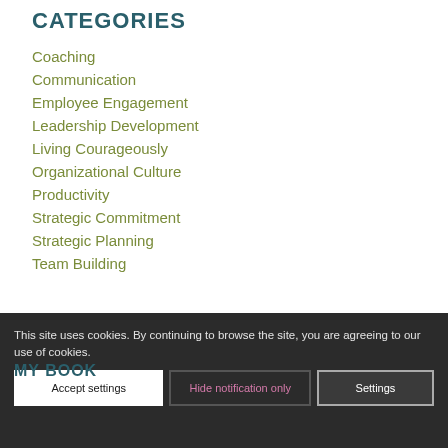CATEGORIES
Coaching
Communication
Employee Engagement
Leadership Development
Living Courageously
Organizational Culture
Productivity
Strategic Commitment
Strategic Planning
Team Building
This site uses cookies. By continuing to browse the site, you are agreeing to our use of cookies.
MY BOOK
Accept settings | Hide notification only | Settings